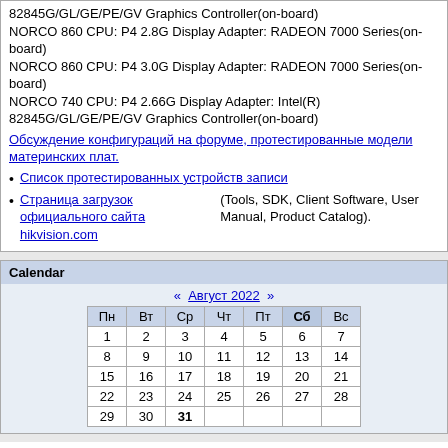EVOC 1901/10 CPU: P4 2.8G Display Adapter: Intel(R) 82845G/GL/GE/PE/GV Graphics Controller(on-board)
NORCO 860 CPU: P4 2.8G Display Adapter: RADEON 7000 Series(on-board)
NORCO 860 CPU: P4 3.0G Display Adapter: RADEON 7000 Series(on-board)
NORCO 740 CPU: P4 2.66G Display Adapter: Intel(R) 82845G/GL/GE/PE/GV Graphics Controller(on-board)
Обсуждение конфигураций на форуме, протестированные модели материнских плат.
Список протестированных устройств записи
Страница загрузок официального сайта hikvision.com (Tools, SDK, Client Software, User Manual, Product Catalog).
Calendar
| Пн | Вт | Ср | Чт | Пт | Сб | Вс |
| --- | --- | --- | --- | --- | --- | --- |
| 1 | 2 | 3 | 4 | 5 | 6 | 7 |
| 8 | 9 | 10 | 11 | 12 | 13 | 14 |
| 15 | 16 | 17 | 18 | 19 | 20 | 21 |
| 22 | 23 | 24 | 25 | 26 | 27 | 28 |
| 29 | 30 | 31 |  |  |  |  |
Полная версия сайта